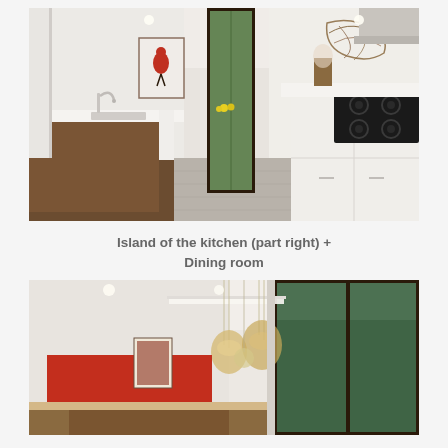[Figure (photo): Interior photo of a modern kitchen showing a long island with white countertop and walnut/dark wood base with an integrated sink and faucet on the left side, white high-gloss cabinets on the right with a black gas cooktop, a narrow tall window/door in the center background showing trees outside, a decorative bird artwork on the wall, a sculptural twig/nest decoration near the upper right, and a range hood visible at top right. Concrete tile flooring.]
Island of the kitchen (part right) + Dining room
[Figure (photo): Interior photo of a dining room with modern pendant lights hanging from the ceiling (globe-shaped with woven/nest-like shades), a large floor-to-ceiling window on the right showing green trees outside, a red kitchen backsplash visible in the background on the left, and a dining table with chairs partially visible at bottom.]